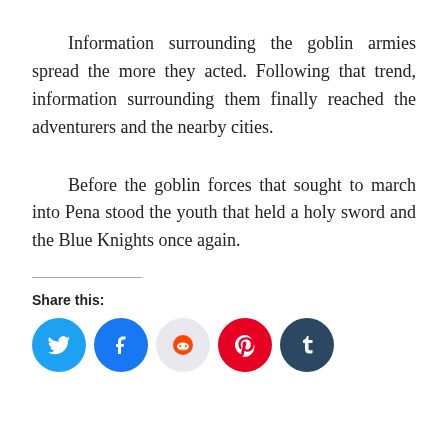Information surrounding the goblin armies spread the more they acted. Following that trend, information surrounding them finally reached the adventurers and the nearby cities.
Before the goblin forces that sought to march into Pena stood the youth that held a holy sword and the Blue Knights once again.
Share this:
[Figure (other): Social sharing buttons: Twitter (blue), Facebook (blue), Reddit (light gray), Pinterest (red), Tumblr (dark navy)]